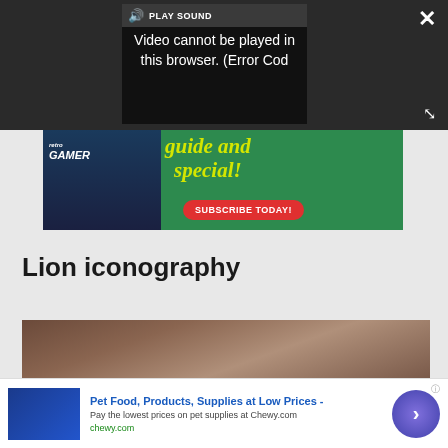[Figure (screenshot): Video player overlay showing error message 'Video cannot be played in this browser. (Error Cod' with play sound button, close button, and expand button on dark background]
[Figure (screenshot): Advertisement banner for Retro Gamer magazine showing 'guide and special!' in yellow italic text on green background with 'SUBSCRIBE TODAY!' red button and magazine cover on left]
Lion iconography
[Figure (photo): Partial image of what appears to be a lion, brownish tones]
[Figure (screenshot): Advertisement for Chewy.com - Pet Food, Products, Supplies at Low Prices - Pay the lowest prices on pet supplies at Chewy.com]